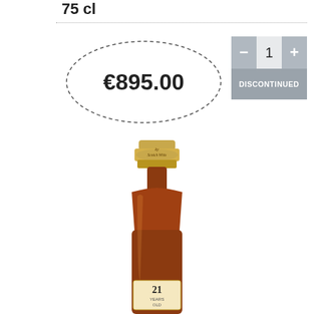75 cl
€895.00
1
DISCONTINUED
[Figure (photo): Top portion of a Scotch whisky bottle with a gold cap labelled 'Scotch Whisky', dark amber glass bottle body, and a label showing '21 Years Old']